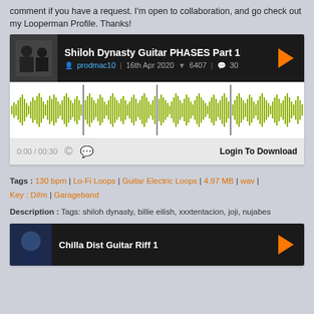comment if you have a request. I'm open to collaboration, and go check out my Looperman Profile. Thanks!
[Figure (screenshot): Audio loop player card for 'Shiloh Dynasty Guitar PHASES Part 1' by prodmac10, 16th Apr 2020, 6407 downloads, 30 comments, with waveform visualization and Login To Download button]
Tags : 130 bpm | Lo-Fi Loops | Guitar Electric Loops | 4.97 MB | wav | Key : D#m | Garageband
Description : Tags: shiloh dynasty, billie eilish, xxxtentacion, joji, nujabes
[Figure (screenshot): Audio loop player card for 'Chilla Dist Guitar Riff 1' with play button]